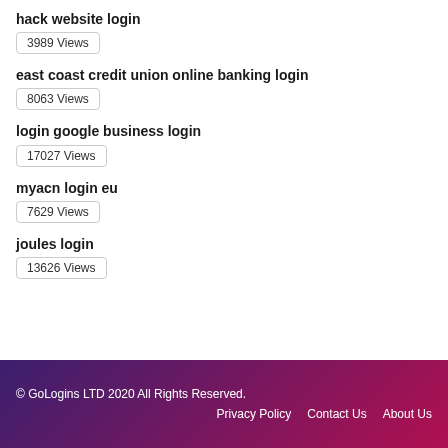hack website login
3989 Views
east coast credit union online banking login
8063 Views
login google business login
17027 Views
myacn login eu
7629 Views
joules login
13626 Views
© GoLogins LTD 2020 All Rights Reserved. Privacy Policy Contact Us About Us